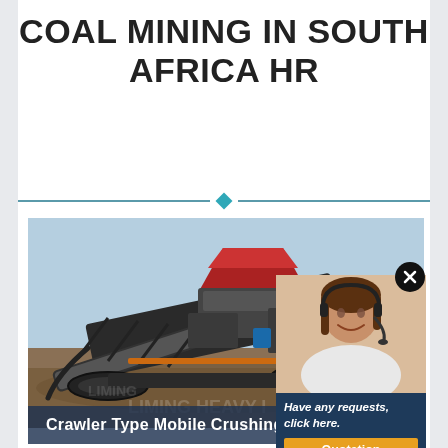COAL MINING IN SOUTH AFRICA HR
[Figure (photo): Crawler Type Mobile Crushing Plant — a large industrial mobile crusher on tracks, photographed outdoors on a construction/mining site with blue sky background. The machine has a red hopper at top and conveyor belt system.]
Crawler Type Mobile Crushing Plant
[Figure (photo): Popup overlay panel showing a smiling woman with headset (customer service representative), with text 'Have any requests, click here.' and buttons for Quotation, Enquiry, and email limingjlmofen@sina.com]